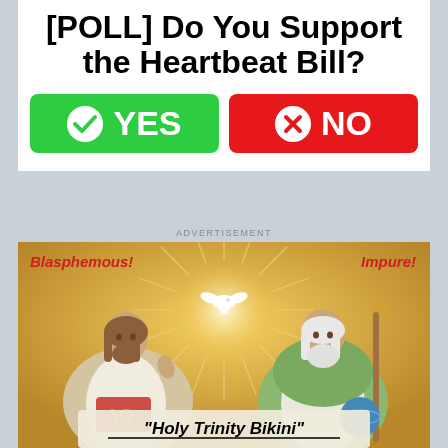[POLL] Do You Support the Heartbeat Bill?
[Figure (infographic): Poll widget with YES (green button with checkmark) and NO (red button with X) options]
ADVERTISEMENT
[Figure (illustration): Religious illustration showing two robed figures (Jesus and God the Father) with a dove above, labeled 'Blasphemous!' and 'Impure!' with text 'Holy Trinity Bikini' at bottom]